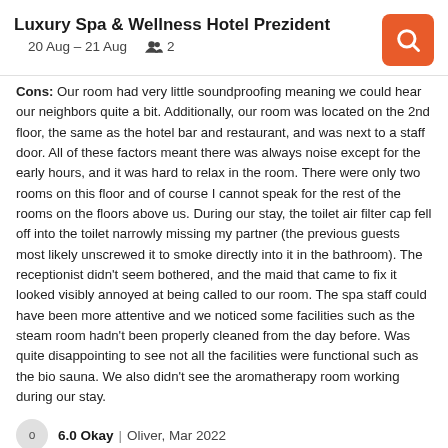Luxury Spa & Wellness Hotel Prezident
20 Aug – 21 Aug   2
Cons: Our room had very little soundproofing meaning we could hear our neighbors quite a bit. Additionally, our room was located on the 2nd floor, the same as the hotel bar and restaurant, and was next to a staff door. All of these factors meant there was always noise except for the early hours, and it was hard to relax in the room. There were only two rooms on this floor and of course I cannot speak for the rest of the rooms on the floors above us. During our stay, the toilet air filter cap fell off into the toilet narrowly missing my partner (the previous guests most likely unscrewed it to smoke directly into it in the bathroom). The receptionist didn't seem bothered, and the maid that came to fix it looked visibly annoyed at being called to our room. The spa staff could have been more attentive and we noticed some facilities such as the steam room hadn't been properly cleaned from the day before. Was quite disappointing to see not all the facilities were functional such as the bio sauna. We also didn't see the aromatherapy room working during our stay.
6.0 Okay | Oliver, Mar 2022